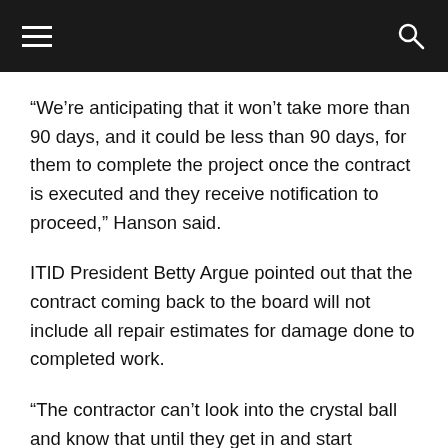[navigation bar with menu and search icons]
“We’re anticipating that it won’t take more than 90 days, and it could be less than 90 days, for them to complete the project once the contract is executed and they receive notification to proceed,” Hanson said.
ITID President Betty Argue pointed out that the contract coming back to the board will not include all repair estimates for damage done to completed work.
“The contractor can’t look into the crystal ball and know that until they get in and start working,” Argue said. “They have already let us know that. There are some things that we anticipate. We’re going to try to have those things, at least have a unit price, and address it from that perspective… Other